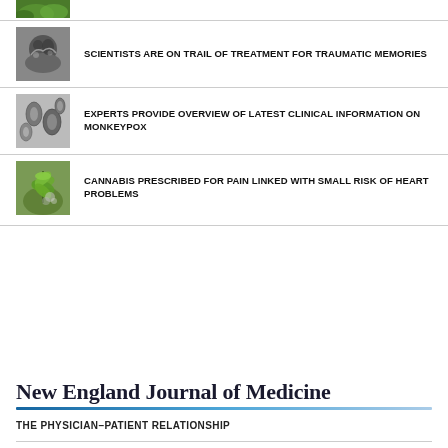[Figure (photo): Partial green nature photo at top, cropped]
SCIENTISTS ARE ON TRAIL OF TREATMENT FOR TRAUMATIC MEMORIES
EXPERTS PROVIDE OVERVIEW OF LATEST CLINICAL INFORMATION ON MONKEYPOX
CANNABIS PRESCRIBED FOR PAIN LINKED WITH SMALL RISK OF HEART PROBLEMS
New England Journal of Medicine
THE PHYSICIAN–PATIENT RELATIONSHIP